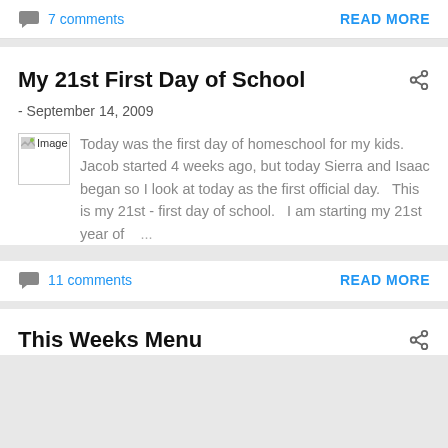7 comments
READ MORE
My 21st First Day of School
- September 14, 2009
[Figure (photo): Broken image placeholder labeled 'Image']
Today was the first day of homeschool for my kids.   Jacob started 4 weeks ago, but today Sierra and Isaac began so I look at today as the first official day.   This is my 21st - first day of school.   I am starting my 21st year of ...
11 comments
READ MORE
This Weeks Menu